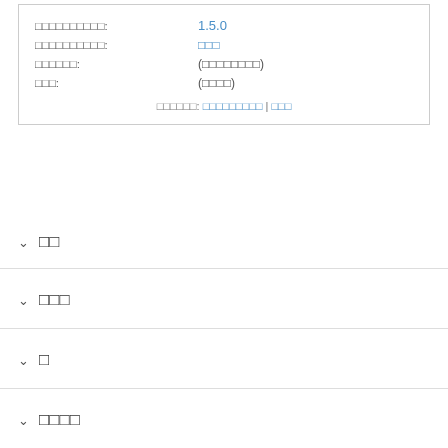| □□□□□□□□□□: | 1.5.0 |
| □□□□□□□□□□: | □□□ |
| □□□□□□: | (□□□□□□□□) |
| □□□: | (□□□□) |
| □□□□□□: □□□□□□□□□ | □□□ |
▾  □□
▾  □□□
▾  □
▾  □□□□